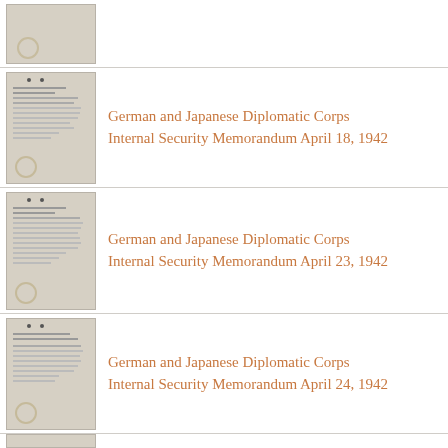[Figure (photo): Thumbnail of historical document - partial view at top]
[Figure (photo): Thumbnail of historical typed document]
German and Japanese Diplomatic Corps Internal Security Memorandum April 18, 1942
[Figure (photo): Thumbnail of historical typed document]
German and Japanese Diplomatic Corps Internal Security Memorandum April 23, 1942
[Figure (photo): Thumbnail of historical typed document]
German and Japanese Diplomatic Corps Internal Security Memorandum April 24, 1942
[Figure (photo): Thumbnail of historical document - partial view at bottom]